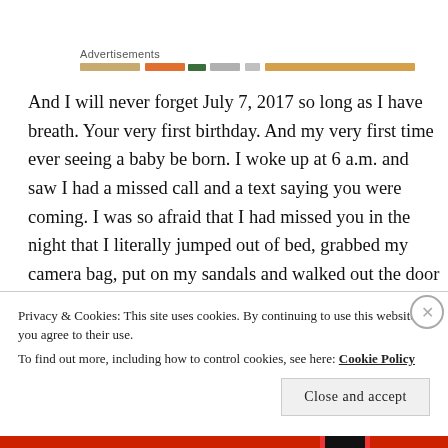Advertisements
And I will never forget July 7, 2017 so long as I have breath. Your very first birthday. And my very first time ever seeing a baby be born. I woke up at 6 a.m. and saw I had a missed call and a text saying you were coming. I was so afraid that I had missed you in the night that I literally jumped out of bed, grabbed my camera bag, put on my sandals and walked out the door in my pajamas. But it would still be another 6 hours before you gave your queen her crown. And in that time, this happened:
Privacy & Cookies: This site uses cookies. By continuing to use this website, you agree to their use.
To find out more, including how to control cookies, see here: Cookie Policy
Close and accept